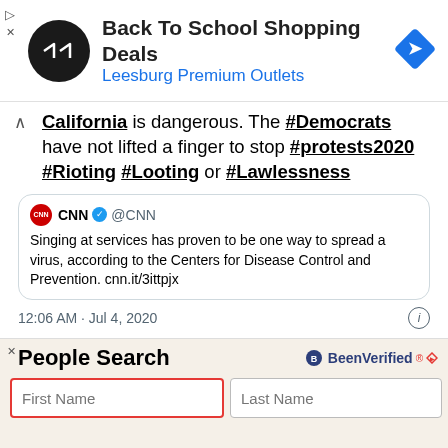[Figure (screenshot): Ad banner for Back To School Shopping Deals at Leesburg Premium Outlets with a circular logo and blue diamond arrow icon]
California is dangerous. The #Democrats have not lifted a finger to stop #protests2020 #Rioting #Looting or #Lawlessness
[Figure (screenshot): Quoted CNN tweet: Singing at services has proven to be one way to spread a virus, according to the Centers for Disease Control and Prevention. cnn.it/3ittpjx]
12:06 AM · Jul 4, 2020
[Figure (screenshot): People Search ad by BeenVerified with First Name and Last Name input fields and a Search button]